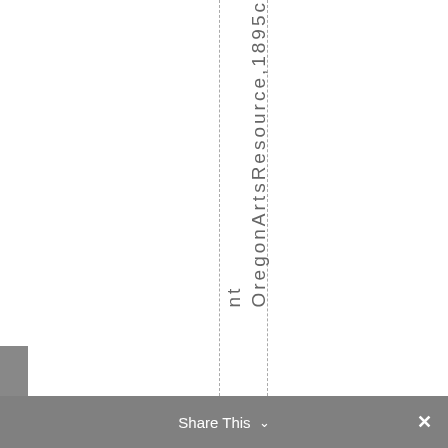OregonArtsResource,1895c...nt
Share This ∨  ×